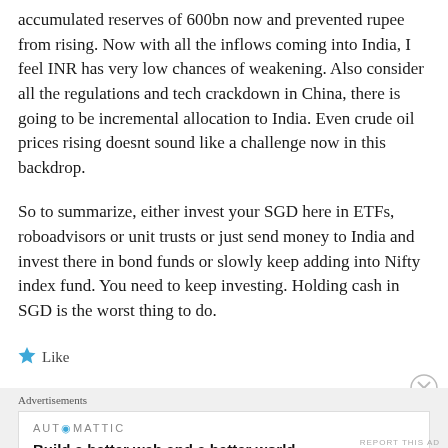accumulated reserves of 600bn now and prevented rupee from rising. Now with all the inflows coming into India, I feel INR has very low chances of weakening. Also consider all the regulations and tech crackdown in China, there is going to be incremental allocation to India. Even crude oil prices rising doesnt sound like a challenge now in this backdrop.
So to summarize, either invest your SGD here in ETFs, roboadvisors or unit trusts or just send money to India and invest there in bond funds or slowly keep adding into Nifty index fund. You need to keep investing. Holding cash in SGD is the worst thing to do.
Like
Advertisements
[Figure (logo): Automattic logo with tagline: Build a better web and a better world.]